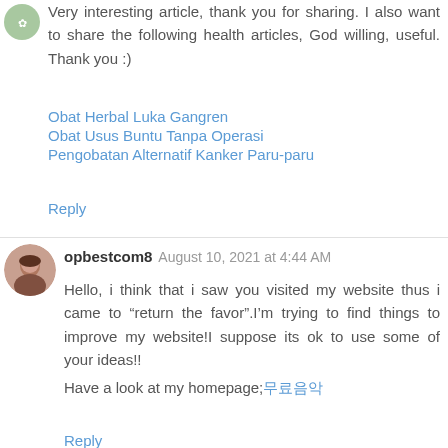[Figure (illustration): Small circular green avatar/logo in top left]
Very interesting article, thank you for sharing. I also want to share the following health articles, God willing, useful. Thank you :)
Obat Herbal Luka Gangren
Obat Usus Buntu Tanpa Operasi
Pengobatan Alternatif Kanker Paru-paru
Reply
[Figure (photo): Small circular profile photo of a woman]
opbestcom8  August 10, 2021 at 4:44 AM
Hello, i think that i saw you visited my website thus i came to “return the favor”.I’m trying to find things to improve my website!I suppose its ok to use some of your ideas!!
Have a look at my homepage;무료음악
Reply